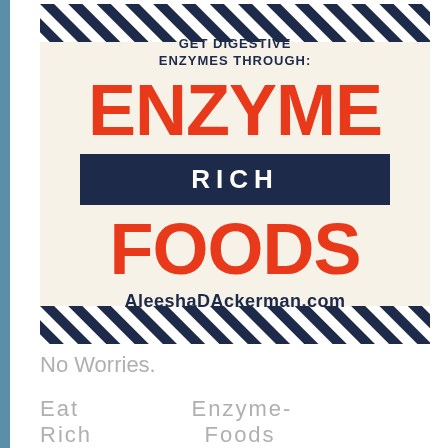[Figure (infographic): Infographic with cream/beige background, diagonal navy and white stripe borders top and bottom, large red text reading ENZYME (top) and FOODS (bottom), navy rectangle with white text RICH in the middle, subtitle text GET DIGESTIVE ENZYMES THROUGH: and website AleeshaDAckerman.com]
No Worries.
Eat Enzyme-Rich Foods Instead!